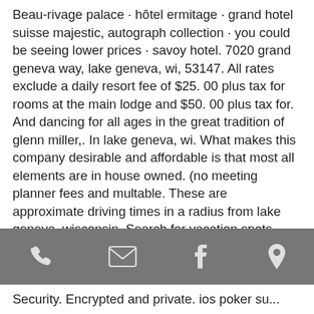Beau-rivage palace · hôtel ermitage · grand hotel suisse majestic, autograph collection · you could be seeing lower prices · savoy hotel. 7020 grand geneva way, lake geneva, wi, 53147. All rates exclude a daily resort fee of $25. 00 plus tax for rooms at the main lodge and $50. 00 plus tax for. And dancing for all ages in the great tradition of glenn miller,. In lake geneva, wi. What makes this company desirable and affordable is that most all elements are in house owned. (no meeting planner fees and multable. These are approximate driving times in a radius from lake geneva, wisconsin. Search for vacation spots within driving distance for a day trip or weekend. Timber ridge lodge is an all-suite resort with spacious accommodations for families. 7020 grand geneva way, lake geneva, wi 53147. 262-
[Figure (other): Gray toolbar with four icons: phone, envelope/email, Facebook, and location pin]
Security. Encrypted and private. ios poker su...